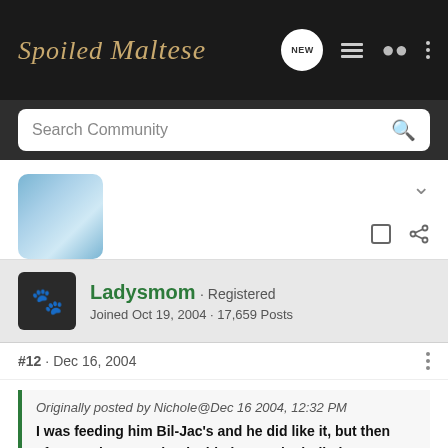Spoiled Maltese - Search Community
[Figure (screenshot): Forum user avatar showing a small white dog in blue outfit]
Ladysmom · Registered
Joined Oct 19, 2004 · 17,659 Posts
#12 · Dec 16, 2004
Originally posted by Nichole@Dec 16 2004, 12:32 PM
I was feeding him Bil-Jac's and he did like it, but then after much research I decided to go the holistic route not because I wasn't satisified with the food so much, but more because I have read about the MANY possible health problems that can occur in this